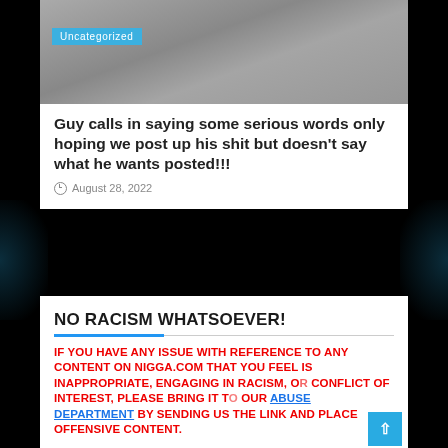[Figure (screenshot): Blurry grainy video screenshot with 'Uncategorized' badge in blue]
Guy calls in saying some serious words only hoping we post up his shit but doesn't say what he wants posted!!!
August 28, 2022
NO RACISM WHATSOEVER!
IF YOU HAVE ANY ISSUE WITH REFERENCE TO ANY CONTENT ON NIGGA.COM THAT YOU FEEL IS INAPPROPRIATE, ENGAGING IN RACISM, OR CONFLICT OF INTEREST, PLEASE BRING IT TO OUR ABUSE DEPARTMENT BY SENDING US THE LINK AND PLACE THE OFFENSIVE CONTENT.